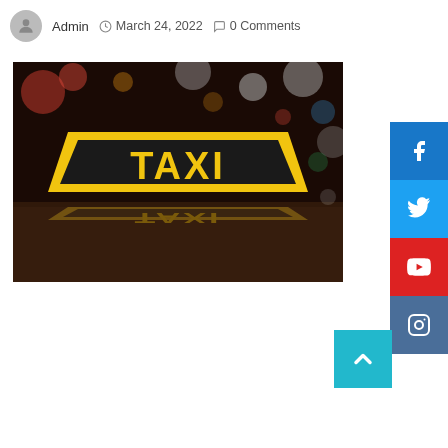Admin  March 24, 2022  0 Comments
[Figure (photo): A yellow TAXI sign on top of a car at night with colorful bokeh lights in the background and the sign's reflection visible on the car roof.]
[Figure (other): Social media sidebar buttons: Facebook (blue), Twitter (blue), YouTube (red), Instagram (steel blue)]
[Figure (other): Scroll-to-top button (cyan/teal with upward chevron arrow)]